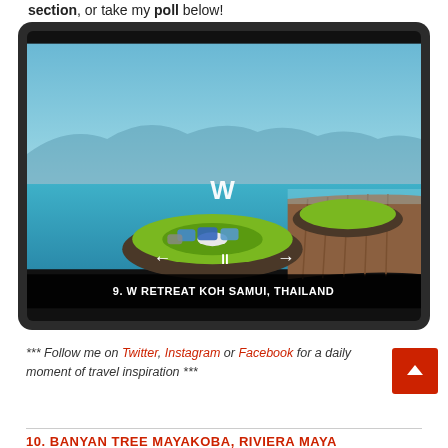section, or take my poll below!
[Figure (photo): Slideshow player showing W Retreat Koh Samui, Thailand — circular green lounge seating on a floating platform over turquoise water, wooden deck, blue sky with mountains in background. Slide 9 of a resort slideshow with navigation controls.]
9. W RETREAT KOH SAMUI, THAILAND
*** Follow me on Twitter, Instagram or Facebook for a daily moment of travel inspiration ***
10. BANYAN TREE MAYAKOBA, RIVIERA MAYA